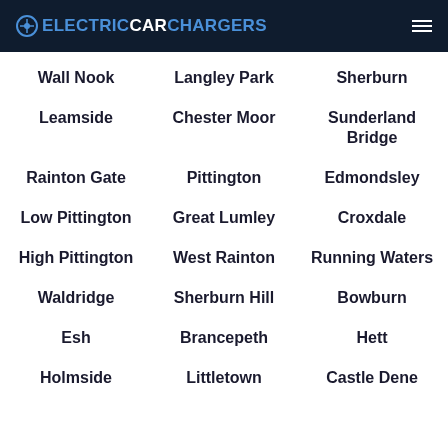ELECTRICCARCHARGERS
Wall Nook
Langley Park
Sherburn
Leamside
Chester Moor
Sunderland Bridge
Rainton Gate
Pittington
Edmondsley
Low Pittington
Great Lumley
Croxdale
High Pittington
West Rainton
Running Waters
Waldridge
Sherburn Hill
Bowburn
Esh
Brancepeth
Hett
Holmside
Littletown
Castle Dene